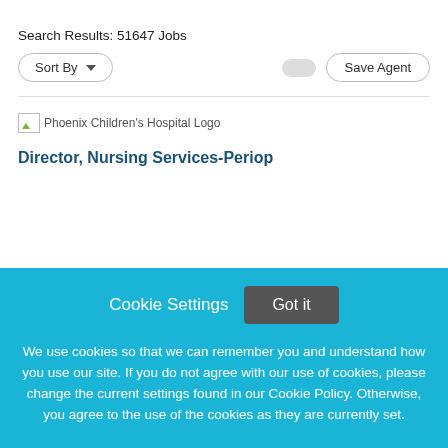Search Results: 51647 Jobs
Sort By   Save Agent
[Figure (logo): Phoenix Children's Hospital Logo (broken image placeholder) followed by logo label text]
Director, Nursing Services-Periop
Cookie Settings  Got it

We use cookies so that we can remember you and understand how you use our site. If you do not agree with our use of cookies, please change the current settings found in our Cookie Policy. Otherwise, you agree to the use of the cookies as they are currently set.